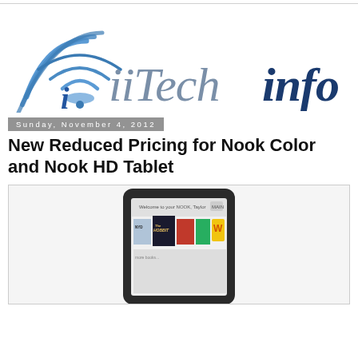[Figure (logo): iiTechinfo logo with WiFi signal icon and stylized lowercase i, text reads iiTechinfo in blue/gray italic font]
Sunday, November 4, 2012
New Reduced Pricing for Nook Color and Nook HD Tablet
[Figure (photo): Nook HD tablet showing home screen with book covers including The Hobbit]